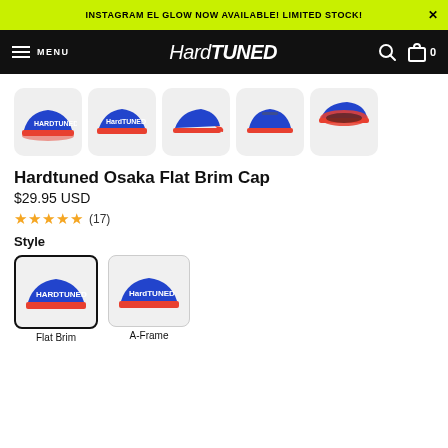INSTAGRAM EL GLOW NOW AVAILABLE! LIMITED STOCK!
[Figure (logo): HardTuned logo in white on black navigation bar with MENU hamburger, search icon and cart icon showing 0 items]
[Figure (photo): Five thumbnail images of the Hardtuned Osaka Flat Brim Cap in blue with red brim, showing front, front-angle, side, back, and underside views]
Hardtuned Osaka Flat Brim Cap
$29.95 USD
★★★★★ (17)
Style
[Figure (photo): Style option: Flat Brim - blue cap with red brim, selected with bold border]
Flat Brim
[Figure (photo): Style option: A-Frame - blue cap with red brim, unselected]
A-Frame